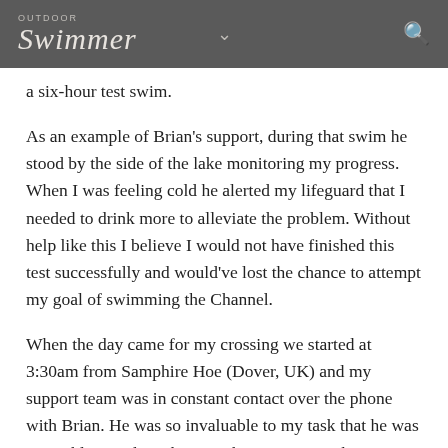OUTDOOR Swimmer
a six-hour test swim.
As an example of Brian's support, during that swim he stood by the side of the lake monitoring my progress. When I was feeling cold he alerted my lifeguard that I needed to drink more to alleviate the problem. Without help like this I believe I would not have finished this test successfully and would've lost the chance to attempt my goal of swimming the Channel.
When the day came for my crossing we started at 3:30am from Samphire Hoe (Dover, UK) and my support team was in constant contact over the phone with Brian. He was so invaluable to my task that he was even able to reduce the time that I was seasick to just a few minutes by advising the team on the boat to change the composition of my sports drink. After 14 hours and 1 minute swimming, we landed on the beach of Wissant in